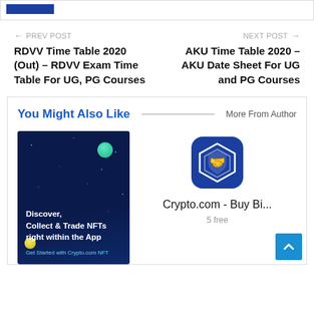[Figure (other): Blue rectangle banner at top]
← PREV POST
RDVV Time Table 2020 (Out) – RDVV Exam Time Table For UG, PG Courses
NEXT POST →
AKU Time Table 2020 – AKU Date Sheet For UG and PG Courses
You Might Also Like
More From Author
[Figure (illustration): NFT advertisement: dark blue background with planets and text 'Discover, Collect & Trade NFTs right within the App. Get Started with Crypto.com NFT']
[Figure (logo): Crypto.com app icon – blue rounded square with white hexagonal shield logo]
Crypto.com - Buy Bi...
5 free